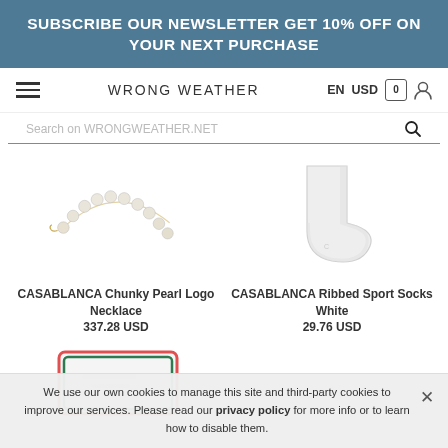SUBSCRIBE OUR NEWSLETTER GET 10% OFF ON YOUR NEXT PURCHASE
WRONG WEATHER  EN  USD  0
Search on WRONGWEATHER.NET
[Figure (photo): Pearl necklace product image - CASABLANCA Chunky Pearl Logo Necklace]
CASABLANCA Chunky Pearl Logo Necklace
337.28 USD
[Figure (photo): White sock product image - CASABLANCA Ribbed Sport Socks White]
CASABLANCA Ribbed Sport Socks White
29.76 USD
[Figure (photo): Partially visible third product with red and green border]
We use our own cookies to manage this site and third-party cookies to improve our services. Please read our privacy policy for more info or to learn how to disable them.